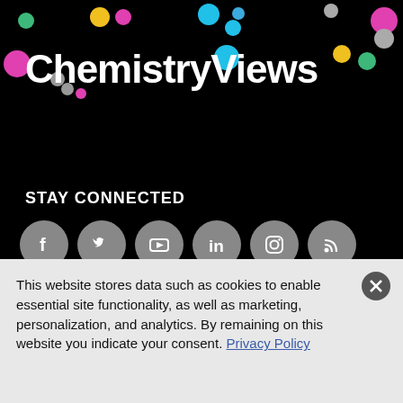[Figure (logo): ChemistryViews logo with colorful dots on black background]
STAY CONNECTED
[Figure (infographic): Six social media icons: Facebook, Twitter, YouTube, LinkedIn, Instagram, RSS]
RESOURCES
Articles
News
Events
ABOUT US
Editorial Office
Advertise
Contact Us
This website stores data such as cookies to enable essential site functionality, as well as marketing, personalization, and analytics. By remaining on this website you indicate your consent. Privacy Policy